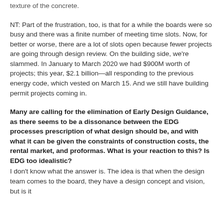texture of the concrete.
NT: Part of the frustration, too, is that for a while the boards were so busy and there was a finite number of meeting time slots. Now, for better or worse, there are a lot of slots open because fewer projects are going through design review. On the building side, we're slammed. In January to March 2020 we had $900M worth of projects; this year, $2.1 billion—all responding to the previous energy code, which vested on March 15. And we still have building permit projects coming in.
Many are calling for the elimination of Early Design Guidance, as there seems to be a dissonance between the EDG processes prescription of what design should be, and with what it can be given the constraints of construction costs, the rental market, and proformas. What is your reaction to this? Is EDG too idealistic?
I don't know what the answer is. The idea is that when the design team comes to the board, they have a design concept and vision, but is it